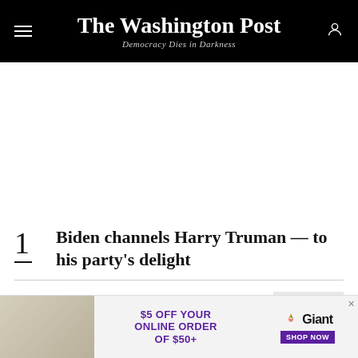The Washington Post — Democracy Dies in Darkness
1 Biden channels Harry Truman — to his party's delight
2 Conservatives think education is a threat. They're right.
[Figure (other): Advertisement banner: $5 OFF YOUR ONLINE ORDER OF $50+ Giant SHOP NOW]